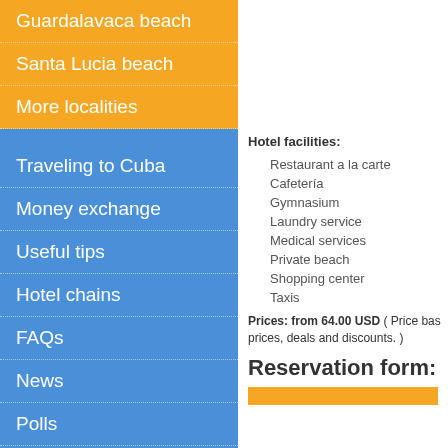Guardalavaca beach
Santa Lucia beach
More localities
Traveling to Cuba
Money exchange
Useful tips
Hotel chains
FAQs
News
Polls
Guestbook
Hotel facilities:
Restaurant a la carte
Cafetería
Gymnasium
Laundry service
Medical services
Private beach
Shopping center
Taxis
Prices: from 64.00 USD  ( Price based on prices, deals and discounts. )
Reservation form: